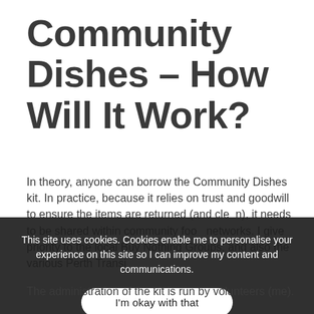Community Dishes – How Will It Work?
In theory, anyone can borrow the Community Dishes kit. In practice, because it relies on trust and goodwill to ensure the items are returned (and clean), it needs to be shared within community food networks... local Buy Nothing Groups, and also the various Perth Transi...
This site uses cookies. Cookies enable me to personalise your experience on this site so I can improve my content and communications.
I'm okay with that
The administration of the kit is run by volunteers (me).